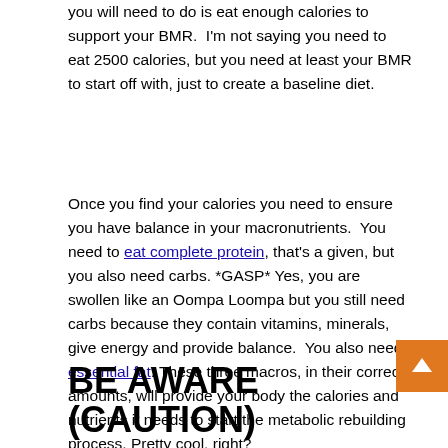you will need to do is eat enough calories to support your BMR.  I'm not saying you need to eat 2500 calories, but you need at least your BMR to start off with, just to create a baseline diet.
Once you find your calories you need to ensure you have balance in your macronutrients.  You need to eat complete protein, that's a given, but you also need carbs. *GASP* Yes, you are swollen like an Oompa Loompa but you still need carbs because they contain vitamins, minerals, give energy and provide balance.  You also need essential fat. These three macros, in their correct amounts, will provide your body the calories and nutrients it needs to start the metabolic rebuilding process. Pretty cool, right?
BE AWARE (CAUTION)